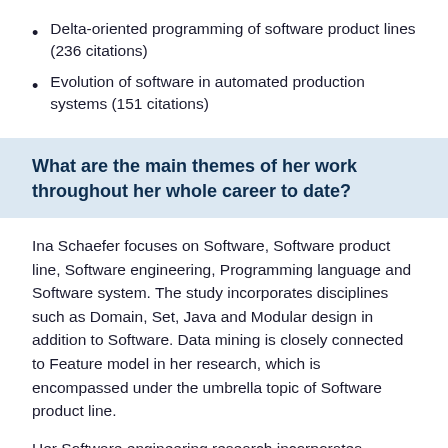Delta-oriented programming of software product lines (236 citations)
Evolution of software in automated production systems (151 citations)
What are the main themes of her work throughout her whole career to date?
Ina Schaefer focuses on Software, Software product line, Software engineering, Programming language and Software system. The study incorporates disciplines such as Domain, Set, Java and Modular design in addition to Software. Data mining is closely connected to Feature model in her research, which is encompassed under the umbrella topic of Software product line.
Her Software engineering research incorporates themes from Software development, Software...